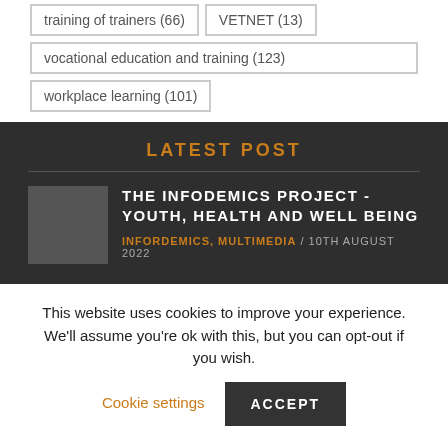training of trainers (66)
VETNET (13)
vocational education and training (123)
workplace learning (101)
LATEST POST
THE INFODEMICS PROJECT - YOUTH, HEALTH AND WELL BEING
INFORDEMICS, MULTIMEDIA / 10TH AUGUST 2022
This website uses cookies to improve your experience. We'll assume you're ok with this, but you can opt-out if you wish. Cookie settings ACCEPT